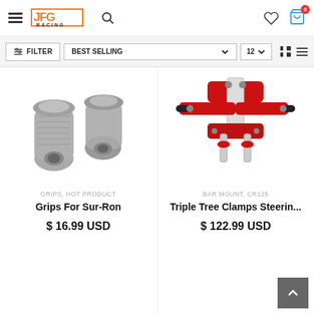[Figure (logo): JFG Racing logo with orange block letters and search icon, navigation icons for hamburger menu, heart/wishlist, and shopping cart with 0 badge]
[Figure (other): Filter bar with FILTER button, BEST SELLING dropdown, 12 per page selector, and grid/list view toggle icons]
[Figure (photo): Gray rubber motorcycle handlebar grips for Sur-Ron]
GRIPS, HOT PRODUCT
Grips For Sur-Ron
$ 16.99 USD
[Figure (photo): Red metal triple tree clamp steering assembly for CR125]
BAR MOUNT, CR125
Triple Tree Clamps Steerin...
$ 122.99 USD